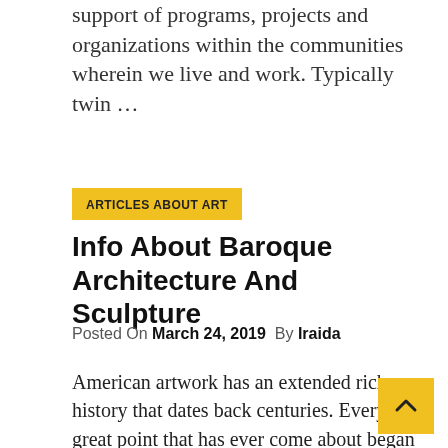support of programs, projects and organizations within the communities wherein we live and work. Typically twin …
ARTICLES ABOUT ART
Info About Baroque Architecture And Sculpture
Posted On March 24, 2019  By Iraida
American artwork has an extended rich history that dates back centuries. Every great point that has ever come about began off being criticized, as a result of it pushed the envelope on what folks were used to. Though I'm unaware of the origin of the quote, I try to preserve it in thoughts when my first